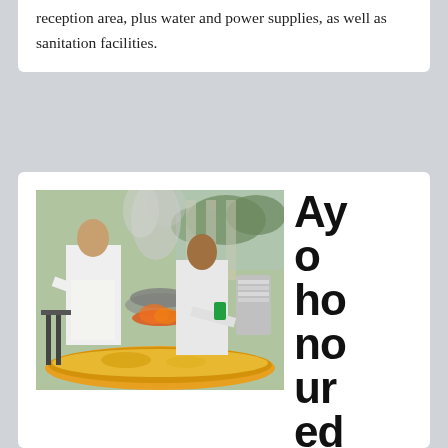reception area, plus water and power supplies, as well as sanitation facilities.
[Figure (photo): Two men in white clothing cooking a large paella over an open flame outdoors.]
Ayo honoured
A statue honouring Francisco Ortega Olalla “Ayo” has been unveiled near Nerja’s sports centre. Mayor José Alberto Armijo said that Ayo, now 83, is a pioneer of athletics locally and nationally, and has shown himself to be